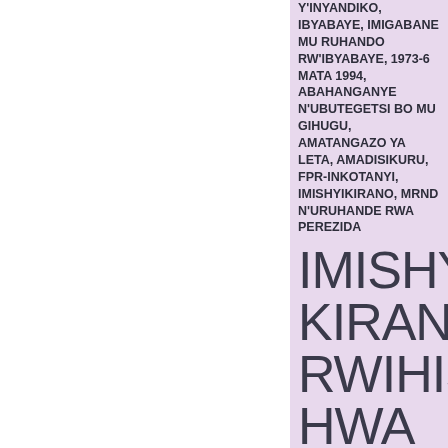Y'INYANDIKO, IBYABAYE, IMIGABANE MU RUHANDO RW'IBYABAYE, 1973-6 MATA 1994, ABAHANGANYE N'UBUTEGETSI BO MU GIHUGU, AMATANGAZO YA LETA, AMADISIKURU, FPR-INKOTANYI, IMISHYIKIRANO, MRND N'URUHANDE RWA PEREZIDA
IMISHYIKIRANO RWIHISHWA YO MULI